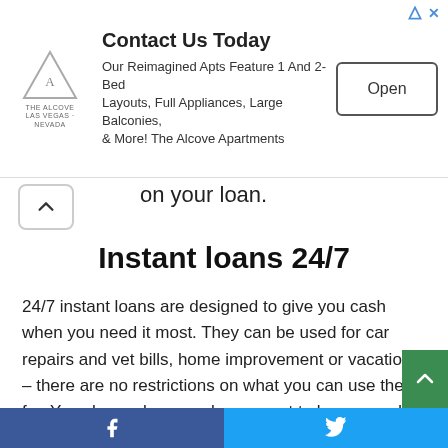[Figure (screenshot): Advertisement banner for The Alcove Apartments with logo, headline 'Contact Us Today', body text about apartment features, and an 'Open' button.]
on your loan.
Instant loans 24/7
24/7 instant loans are designed to give you cash when you need it most. They can be used for car repairs and vet bills, home improvement or vacations – there are no restrictions on what you can use them for. You choose how much you want to borrow and for how long (between 3 days and 3 months) and then fill out the quick and easy online application form.
With 24/7 loans, you can get a loan in as little as 1 hour or less. These loans are not like traditional bank loans, but just